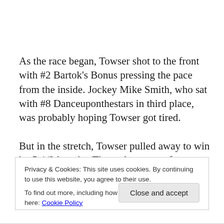As the race began, Towser shot to the front with #2 Bartok's Bonus pressing the pace from the inside. Jockey Mike Smith, who sat with #8 Danceuponthestars in third place, was probably hoping Towser got tired.
But in the stretch, Towser pulled away to win by 5-1/2 lengths. The real race was for second where Bartok's Bonus, who ran his eyeballs out at 19-to-1, got nailed on
Privacy & Cookies: This site uses cookies. By continuing to use this website, you agree to their use.
To find out more, including how to control cookies, see here: Cookie Policy
Close and accept